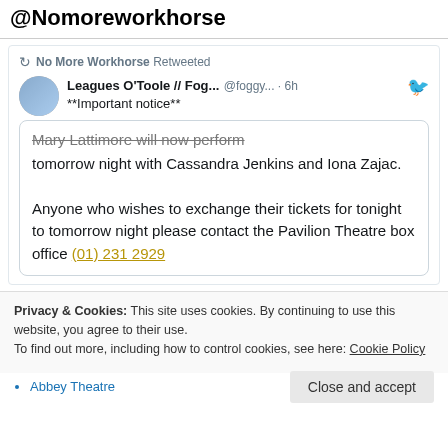@Nomoreworkhorse
No More Workhorse Retweeted
Leagues O'Toole // Fog... @foggy... · 6h
**Important notice**
Mary Lattimore will now perform tomorrow night with Cassandra Jenkins and Iona Zajac. Anyone who wishes to exchange their tickets for tonight to tomorrow night please contact the Pavilion Theatre box office (01) 231 2929
Privacy & Cookies: This site uses cookies. By continuing to use this website, you agree to their use.
To find out more, including how to control cookies, see here: Cookie Policy
Close and accept
Abbey Theatre